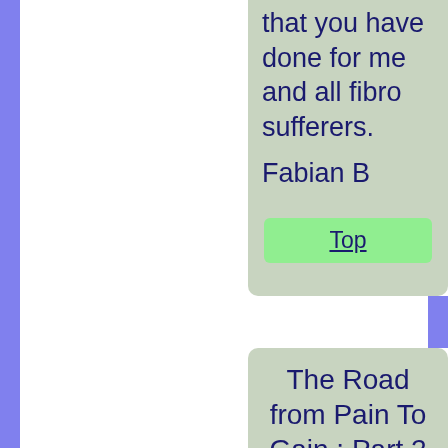that you have done for me and all fibro sufferers.
Fabian B
Top
The Road from Pain To Gain : Part 2